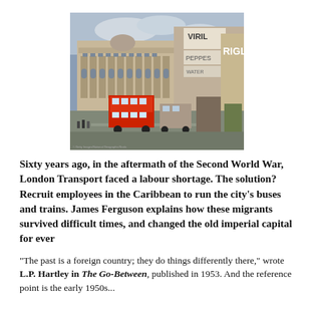[Figure (photo): Vintage colour photograph of a busy London street scene, likely Piccadilly Circus, showing ornate Edwardian buildings, advertising hoardings including 'VIRIL' and 'PEPPES', a red double-decker bus, and crowds of people.]
Sixty years ago, in the aftermath of the Second World War, London Transport faced a labour shortage. The solution? Recruit employees in the Caribbean to run the city's buses and trains. James Ferguson explains how these migrants survived difficult times, and changed the old imperial capital for ever
“The past is a foreign country; they do things differently there,” wrote L.P. Hartley in The Go-Between, published in 1953. And the reference point is the early 1950s...